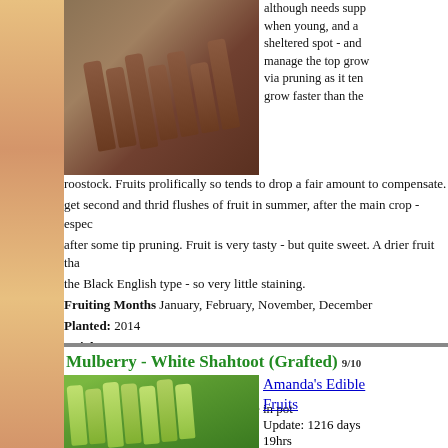[Figure (photo): Hand holding dark red/purple mulberry fruit clusters, multiple elongated mulberries]
although needs supp when young, and a sheltered spot - and manage the top grow via pruning as it ten grow faster than the roostock. Fruits prolifically so tends to drop a fair amount to compensate. get second and thrid flushes of fruit in summer, after the main crop - espec after some tip pruning. Fruit is very tasty - but quite sweet. A drier fruit tha the Black English type - so very little staining.
Fruiting Months January, February, November, December
Planted: 2014
Height 3 metres
Growing: In the Ground
Qty: 1
First Fruited: 3 Years from purchase in pot
Sun/Shade: Medium Sun
Water Given in: Spring
Pruned By: 10% in Spring
Mulberry - White Shahtoot (Grafted) 9/10
[Figure (photo): Hand holding green/white elongated mulberry fruit clusters, White Shahtoot variety]
Amanda's Edible Fruits
Update: 1216 days 19hrs
Comments: - A big vigorous decidious with a lovely arched branching habit. Fru prolifically and hold